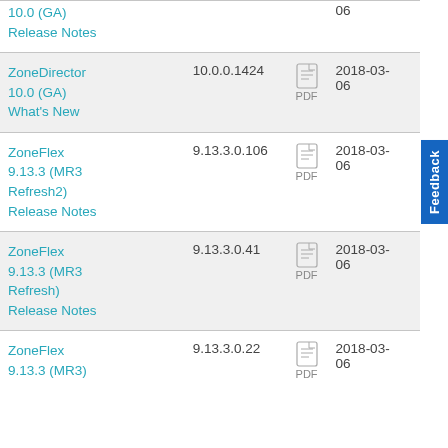| Title | Version | PDF | Date |
| --- | --- | --- | --- |
| 10.0 (GA) Release Notes |  |  | 06 |
| ZoneDirector 10.0 (GA) What's New | 10.0.0.1424 | PDF | 2018-03-06 |
| ZoneFlex 9.13.3 (MR3 Refresh2) Release Notes | 9.13.3.0.106 | PDF | 2018-03-06 |
| ZoneFlex 9.13.3 (MR3 Refresh) Release Notes | 9.13.3.0.41 | PDF | 2018-03-06 |
| ZoneFlex 9.13.3 (MR3) | 9.13.3.0.22 | PDF | 2018-03-06 |